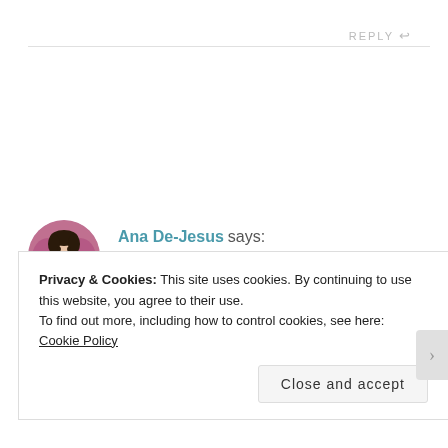REPLY ↩
[Figure (photo): Circular avatar photo of Ana De-Jesus, a woman in a white outfit with butterfly wings, pink/magenta background]
Ana De-Jesus says:
MAY 8, 2017 AT 5:50 PM
I have a bit of a thing for bardot/ off the shoulder
Privacy & Cookies: This site uses cookies. By continuing to use this website, you agree to their use.
To find out more, including how to control cookies, see here: Cookie Policy
Close and accept